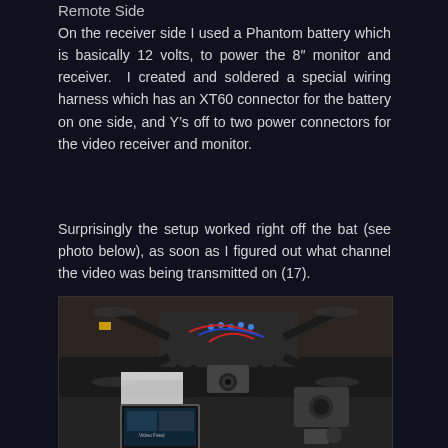Remote Side
On the receiver side I used a Phantom battery which is basically 12 volts, to power the 8″ monitor and receiver.  I created and soldered a special wiring harness which has an XT60 connector for the battery on one side, and Y's off to two power connectors for the video receiver and monitor.
Surprisingly the setup worked right off the bat (see photo below), as soon as I figured out what channel the video was being transmitted on (17).
[Figure (photo): Photo of a drone/quadcopter with blue LED lights and camera equipment, with an 8-inch monitor displaying a video feed visible in the lower left corner, shot in a dark indoor garage setting.]